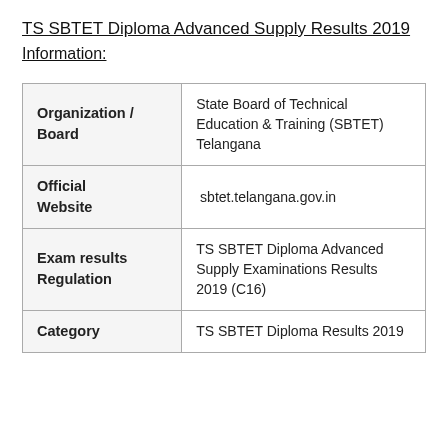TS SBTET Diploma Advanced Supply Results 2019 Information:
|  |  |
| --- | --- |
| Organization / Board | State Board of Technical Education & Training (SBTET) Telangana |
| Official Website | sbtet.telangana.gov.in |
| Exam results Regulation | TS SBTET Diploma Advanced Supply Examinations Results 2019 (C16) |
| Category | TS SBTET Diploma Results 2019 |